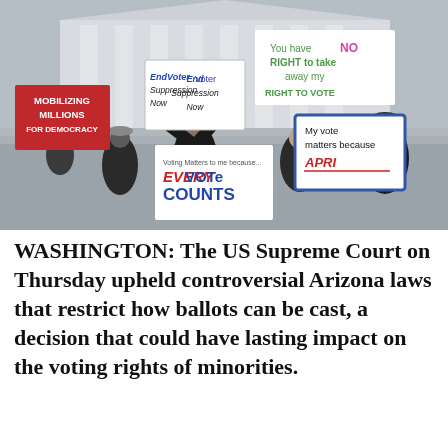[Figure (photo): Protesters outside the US Supreme Court building holding signs including 'Mobilizing Millions for Democracy', 'End Voter Suppression Now', 'You have NO RIGHT to take away my RIGHT TO VOTE', 'My vote matters because APRI', and 'Every VOTE COUNTS'. Crowd of people dressed in winter clothing.]
WASHINGTON: The US Supreme Court on Thursday upheld controversial Arizona laws that restrict how ballots can be cast, a decision that could have lasting impact on the voting rights of minorities.